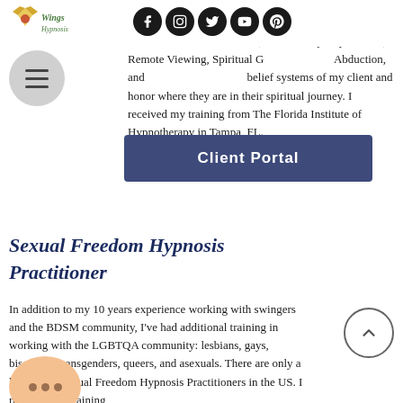Wings Hypnosis — social icons and navigation header
Reincarnation, Karma, Dharma, Past Life Regression, Life Between Lives Session, Out of Body Experiences, Remote Viewing, Spiritual Guidance, Alien Abduction, and other non-traditional belief systems of my client and honor where they are in their spiritual journey. I received my training from The Florida Institute of Hypnotherapy in Tampa, FL.
[Figure (other): Client Portal button - dark blue/navy rectangular button with white bold text reading 'Client Portal']
Sexual Freedom Hypnosis Practitioner
In addition to my 10 years experience working with swingers and the BDSM community, I've had additional training in working with the LGBTQA community: lesbians, gays, bisexuals, transgenders, queers, and asexuals. There are only a handful of Sexual Freedom Hypnosis Practitioners in the US. I received my training